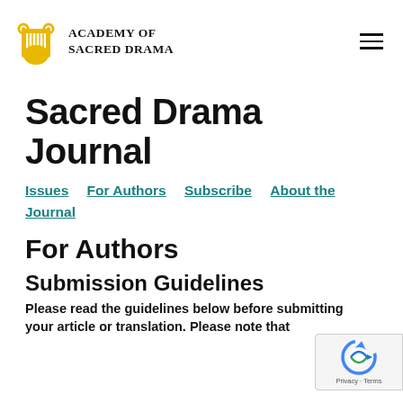Academy of Sacred Drama
Sacred Drama Journal
Issues | For Authors | Subscribe | About the Journal
For Authors
Submission Guidelines
Please read the guidelines below before submitting your article or translation. Please note that